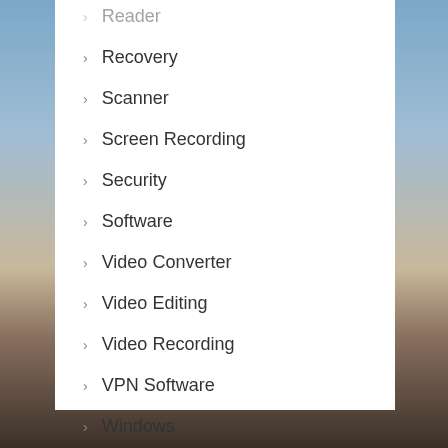Reader
Recovery
Scanner
Screen Recording
Security
Software
Video Converter
Video Editing
Video Recording
VPN Software
Windows
Windows Emulator